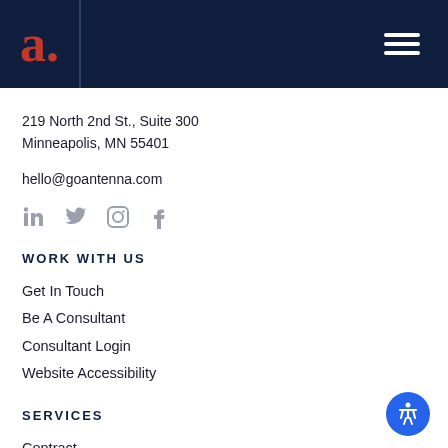a. [logo] [hamburger menu]
219 North 2nd St., Suite 300
Minneapolis, MN 55401
hello@goantenna.com
[Figure (illustration): Social media icons: LinkedIn, Twitter, Instagram, Facebook]
WORK WITH US
Get In Touch
Be A Consultant
Consultant Login
Website Accessibility
SERVICES
Contract
Project
Leadership